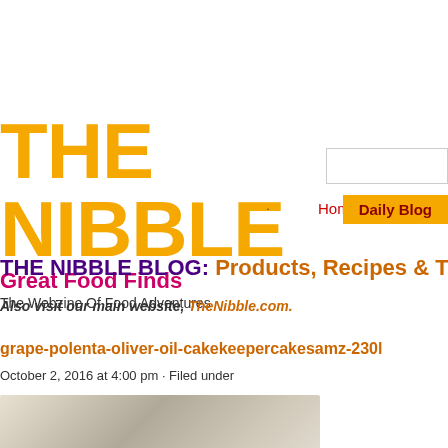THE NIBBLE
Great Food Finds
The Webzine Of Food Adventures
THE NIBBLE BLOG: Products, Recipes & Tren…
Also visit our main website, TheNibble.com.
grape-polenta-oliver-oil-cakekeepercakesamz-230l
October 2, 2016 at 4:00 pm · Filed under
[Figure (photo): Partial view of a food item, likely a cake or dessert, on a light gray background]